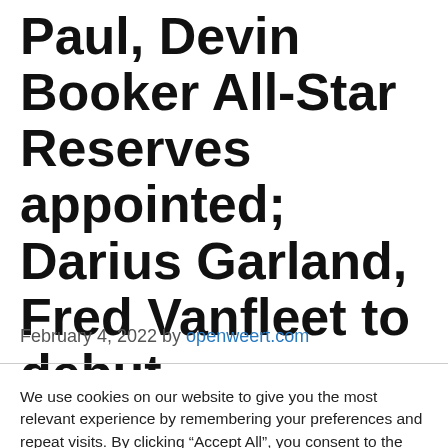Paul, Devin Booker All-Star Reserves appointed; Darius Garland, Fred Vanfleet to debut
February 4, 2022 by openweert.com
We use cookies on our website to give you the most relevant experience by remembering your preferences and repeat visits. By clicking “Accept All”, you consent to the use of ALL the cookies. However, you may visit "Cookie Settings" to provide a controlled consent.